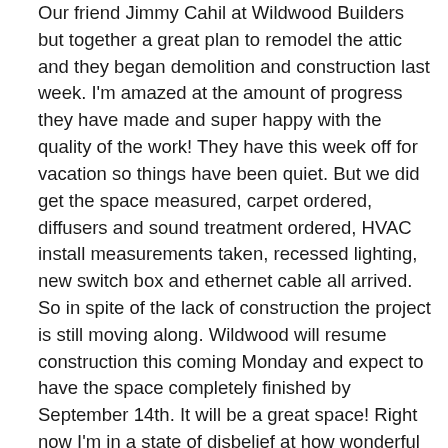Our friend Jimmy Cahil at Wildwood Builders but together a great plan to remodel the attic and they began demolition and construction last week. I'm amazed at the amount of progress they have made and super happy with the quality of the work! They have this week off for vacation so things have been quiet. But we did get the space measured, carpet ordered, diffusers and sound treatment ordered, HVAC install measurements taken, recessed lighting, new switch box and ethernet cable all arrived. So in spite of the lack of construction the project is still moving along. Wildwood will resume construction this coming Monday and expect to have the space completely finished by September 14th. It will be a great space! Right now I'm in a state of disbelief at how wonderful the studio will be.
Here are some pictures of the space currently. Next post will have other progress pictures of some special...